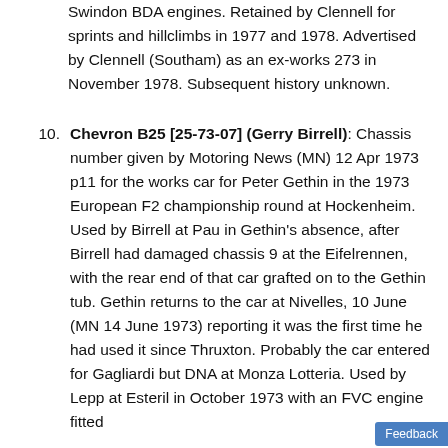Swindon BDA engines. Retained by Clennell for sprints and hillclimbs in 1977 and 1978. Advertised by Clennell (Southam) as an ex-works 273 in November 1978. Subsequent history unknown.
10. Chevron B25 [25-73-07] (Gerry Birrell): Chassis number given by Motoring News (MN) 12 Apr 1973 p11 for the works car for Peter Gethin in the 1973 European F2 championship round at Hockenheim. Used by Birrell at Pau in Gethin's absence, after Birrell had damaged chassis 9 at the Eifelrennen, with the rear end of that car grafted on to the Gethin tub. Gethin returns to the car at Nivelles, 10 June (MN 14 June 1973) reporting it was the first time he had used it since Thruxton. Probably the car entered for Gagliardi but DNA at Monza Lotteria. Used by Lepp at Esteril in October 1973 with an FVC engine fitted